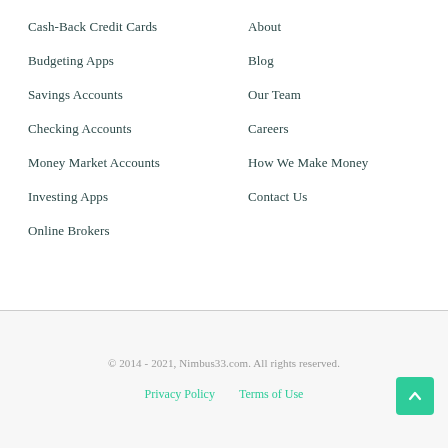Cash-Back Credit Cards
Budgeting Apps
Savings Accounts
Checking Accounts
Money Market Accounts
Investing Apps
Online Brokers
About
Blog
Our Team
Careers
How We Make Money
Contact Us
© 2014 - 2021, Nimbus33.com. All rights reserved.
Privacy Policy  Terms of Use